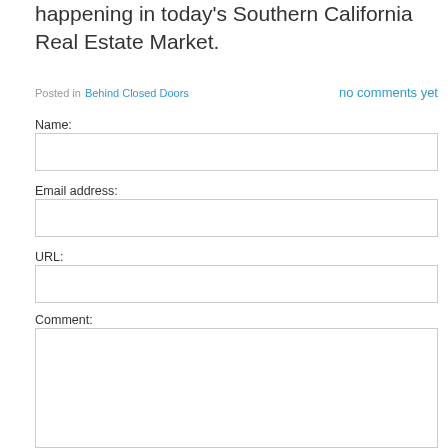happening in today's Southern California Real Estate Market.
Posted in Behind Closed Doors    no comments yet
Name:
Email address:
URL:
Comment: